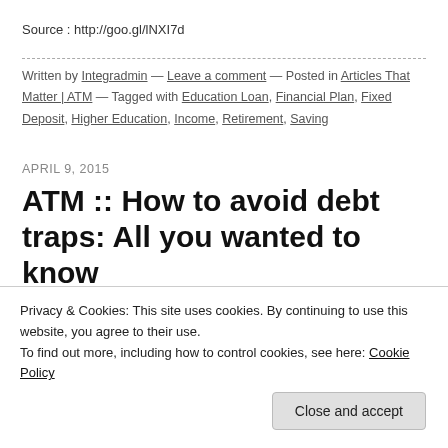Source : http://goo.gl/lNXI7d
Written by Integradmin — Leave a comment — Posted in Articles That Matter | ATM — Tagged with Education Loan, Financial Plan, Fixed Deposit, Higher Education, Income, Retirement, Saving
APRIL 9, 2015
ATM :: How to avoid debt traps: All you wanted to know
By: CreditVidya | April 8, 2015 9:12 am | Financial Express
[Figure (logo): ATM logo in large italic serif font]
Privacy & Cookies: This site uses cookies. By continuing to use this website, you agree to their use.
To find out more, including how to control cookies, see here: Cookie Policy